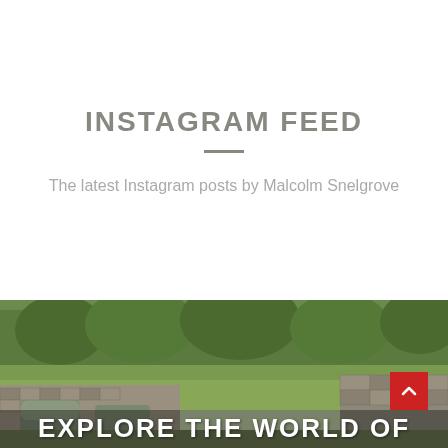INSTAGRAM FEED
The latest Instagram posts by Malcolm Snelgrove
[Figure (photo): Outdoor photo of ancient stone ruins with low stone walls forming archways, surrounded by green grass and trees. Text overlay at bottom reads 'EXPLORE THE WORLD OF' and a red scroll-to-top button with an upward chevron is visible on the right.]